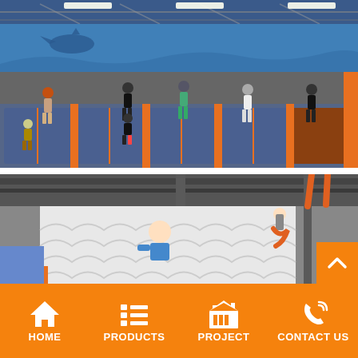[Figure (photo): Indoor trampoline park with blue and orange padded trampolines, children playing and jumping, blue mural on walls with shark/ocean theme, industrial ceiling with steel beams and fluorescent lights]
[Figure (photo): Second indoor trampoline park photo showing children jumping, white quilted foam pit wall padding, industrial ceiling, orange trampoline equipment visible]
HOME  PRODUCTS  PROJECT  CONTACT US